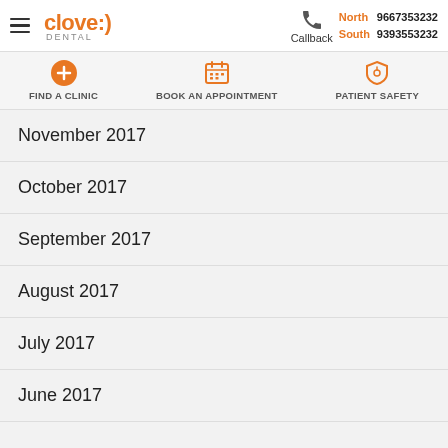Clove Dental — North 9667353232 South 9393553232 Callback
[Figure (screenshot): Navigation bar with icons: FIND A CLINIC, BOOK AN APPOINTMENT, PATIENT SAFETY]
November 2017
October 2017
September 2017
August 2017
July 2017
June 2017